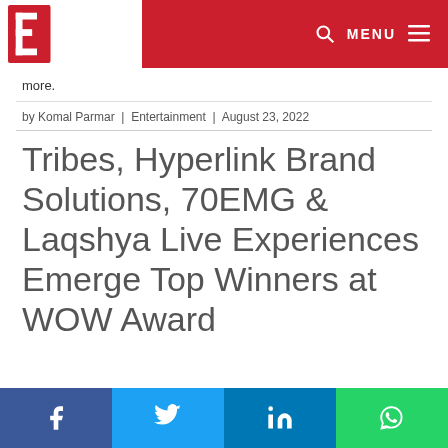EventFaqs.com — MENU
more.
by Komal Parmar | Entertainment | August 23, 2022
Tribes, Hyperlink Brand Solutions, 70EMG & Laqshya Live Experiences Emerge Top Winners at WOW Award
Facebook | Twitter | LinkedIn | WhatsApp